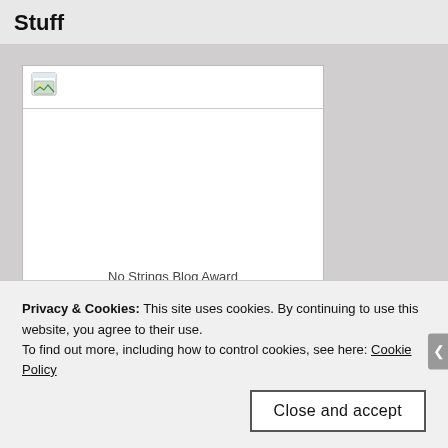Stuff
[Figure (illustration): A broken/placeholder image icon (small document with image placeholder) inside a white bordered box labeled 'No Strings Blog Award']
No Strings Blog Award
Privacy & Cookies: This site uses cookies. By continuing to use this website, you agree to their use.
To find out more, including how to control cookies, see here: Cookie Policy
Close and accept